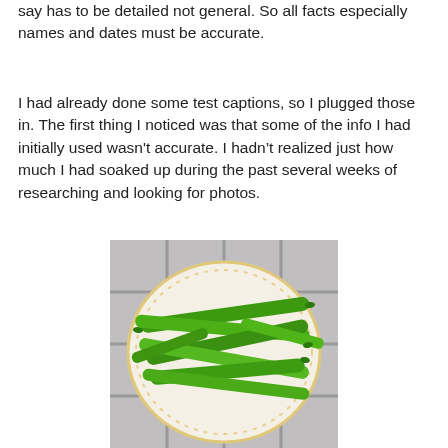say has to be detailed not general. So all facts especially names and dates must be accurate.
I had already done some test captions, so I plugged those in. The first thing I noticed was that some of the info I had initially used wasn't accurate. I hadn't realized just how much I had soaked up during the past several weeks of researching and looking for photos.
[Figure (photo): A plate of fresh green beans (runner beans) arranged on a decorative white plate with gold floral pattern, placed on a grey tiled surface.]